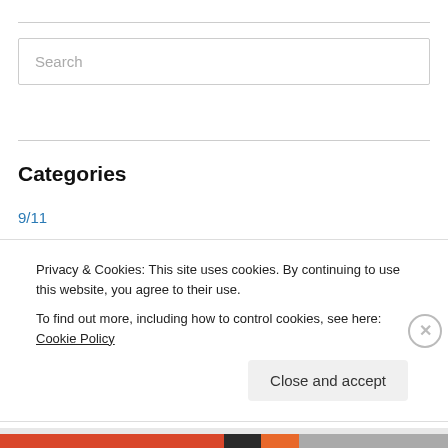Search
Categories
9/11
Abraham Lincoln
Accupuncture
Adventure
adventure geology
Privacy & Cookies: This site uses cookies. By continuing to use this website, you agree to their use.
To find out more, including how to control cookies, see here: Cookie Policy
Close and accept